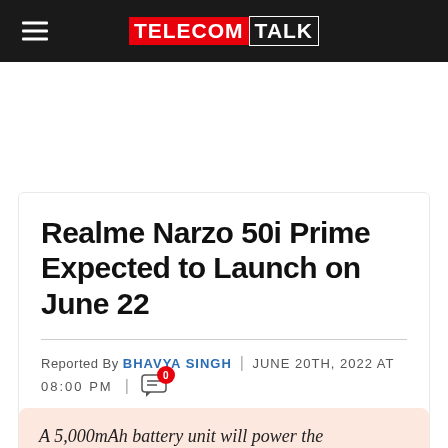TELECOMTALK
Realme Narzo 50i Prime Expected to Launch on June 22
Reported By BHAVYA SINGH | JUNE 20TH, 2022 AT 08:00 PM
A 5,000mAh battery unit will power the